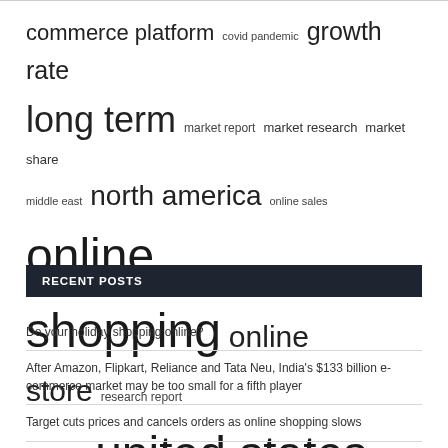[Figure (infographic): Tag cloud with terms related to e-commerce and market research, displayed in varying font sizes indicating frequency/importance. Terms include: commerce platform, covid pandemic, growth rate, long term, market report, market research, market share, middle east, north america, online sales, online shopping, online store, research report, supply chain, united states.]
RECENT POSTS
Do your holiday shopping online?
After Amazon, Flipkart, Reliance and Tata Neu, India's $133 billion e-commerce market may be too small for a fifth player
Target cuts prices and cancels orders as online shopping slows